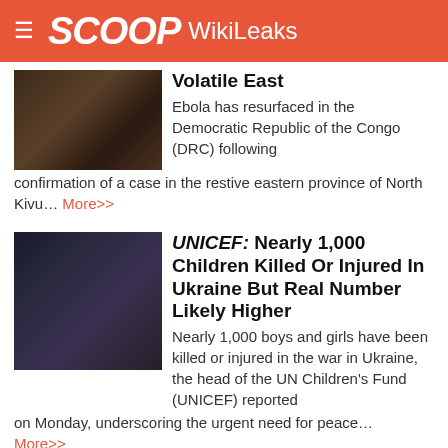SCOOP WikiLeaks
Volatile East
Ebola has resurfaced in the Democratic Republic of the Congo (DRC) following confirmation of a case in the restive eastern province of North Kivu… More>>
UNICEF: Nearly 1,000 Children Killed Or Injured In Ukraine But Real Number Likely Higher
Nearly 1,000 boys and girls have been killed or injured in the war in Ukraine, the head of the UN Children's Fund (UNICEF) reported on Monday, underscoring the urgent need for peace… More>>
Afghanistan: One Year On From Regime Change And Children Face An Unimaginable A Crisis
On the one-year anniversary of regime change in Afghanistan, a new World Vision